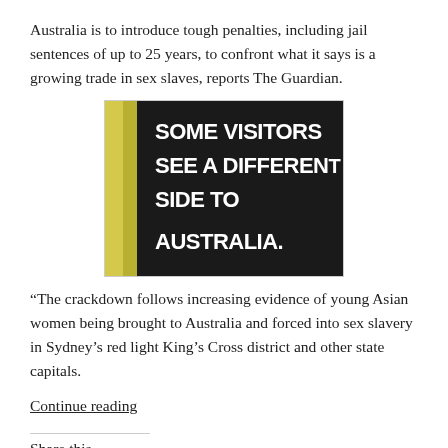Australia is to introduce tough penalties, including jail sentences of up to 25 years, to confront what it says is a growing trade in sex slaves, reports The Guardian.
[Figure (photo): A sign on a dark background reading 'SOME VISITORS SEE A DIFFERENT SIDE TO AUSTRALIA.' in large white distressed lettering, with a yellow wall or column visible on the left edge.]
“The crackdown follows increasing evidence of young Asian women being brought to Australia and forced into sex slavery in Sydney’s red light King’s Cross district and other state capitals.
Continue reading
Share this